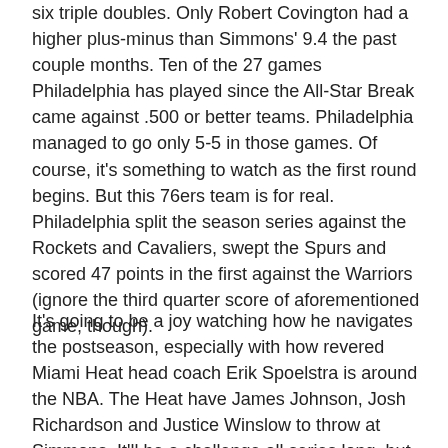six triple doubles. Only Robert Covington had a higher plus-minus than Simmons' 9.4 the past couple months. Ten of the 27 games Philadelphia has played since the All-Star Break came against .500 or better teams. Philadelphia managed to go only 5-5 in those games. Of course, it's something to watch as the first round begins. But this 76ers team is for real. Philadelphia split the season series against the Rockets and Cavaliers, swept the Spurs and scored 47 points in the first against the Warriors (ignore the third quarter score of aforementioned game, though).
It's going to be a joy watching how he navigates the postseason, especially with how revered Miami Heat head coach Erik Spoelstra is around the NBA. The Heat have James Johnson, Josh Richardson and Justice Winslow to throw at Simmons. It'll be a challenge all series long, but that's the joy of it all to see how Simmons responds to double-teams, various defenses and the occasional